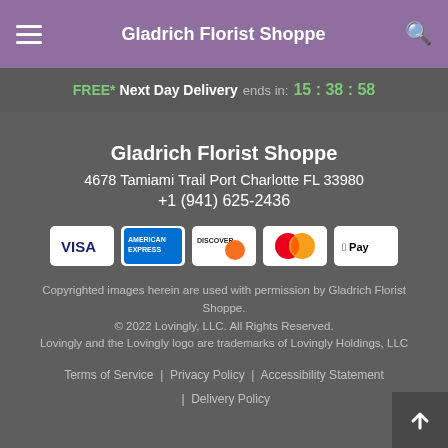Gladrich Florist Shoppe
FREE* Next Day Delivery ends in: 15:38:58
Gladrich Florist Shoppe
4678 Tamiami Trail Port Charlotte FL 33980
+1 (941) 625-2436
[Figure (logo): Payment method icons: Visa, American Express, Discover, Mastercard, Apple Pay]
Copyrighted images herein are used with permission by Gladrich Florist Shoppe.
© 2022 Lovingly, LLC. All Rights Reserved.
Lovingly and the Lovingly logo are trademarks of Lovingly Holdings, LLC
Terms of Service | Privacy Policy | Accessibility Statement | Delivery Policy